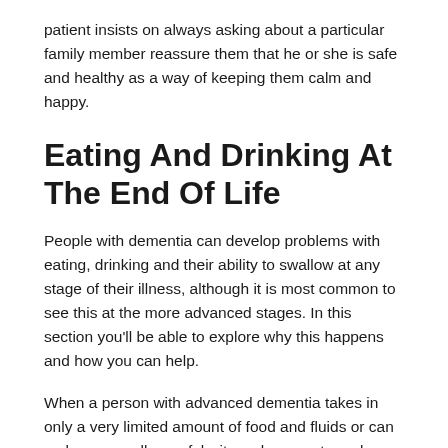patient insists on always asking about a particular family member reassure them that he or she is safe and healthy as a way of keeping them calm and happy.
Eating And Drinking At The End Of Life
People with dementia can develop problems with eating, drinking and their ability to swallow at any stage of their illness, although it is most common to see this at the more advanced stages. In this section you'll be able to explore why this happens and how you can help.
When a person with advanced dementia takes in only a very limited amount of food and fluids or can no longer swallow safely, it can be an extremely difficult and emotional time for for the carers offering support and others to come...